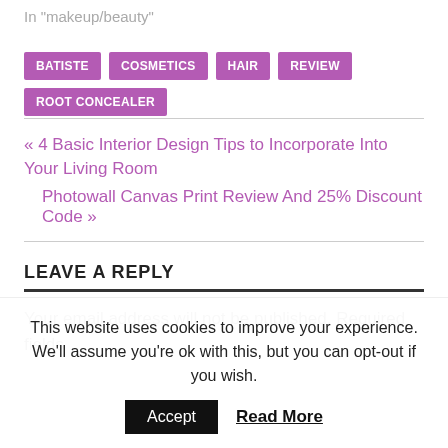In "makeup/beauty"
BATISTE
COSMETICS
HAIR
REVIEW
ROOT CONCEALER
« 4 Basic Interior Design Tips to Incorporate Into Your Living Room
Photowall Canvas Print Review And 25% Discount Code »
LEAVE A REPLY
Your email address will not be published. Required fields
This website uses cookies to improve your experience. We'll assume you're ok with this, but you can opt-out if you wish.
Accept
Read More